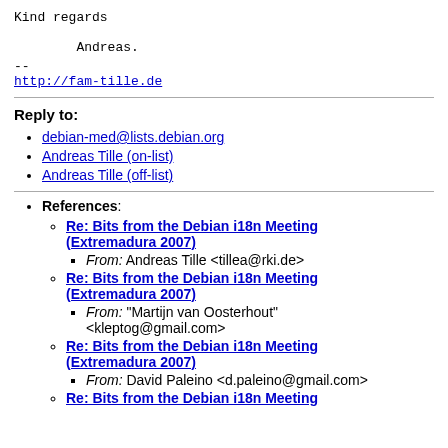Kind regards

        Andreas.
--
http://fam-tille.de
Reply to:
debian-med@lists.debian.org
Andreas Tille (on-list)
Andreas Tille (off-list)
References:
Re: Bits from the Debian i18n Meeting (Extremadura 2007)
From: Andreas Tille <tillea@rki.de>
Re: Bits from the Debian i18n Meeting (Extremadura 2007)
From: "Martijn van Oosterhout" <kleptog@gmail.com>
Re: Bits from the Debian i18n Meeting (Extremadura 2007)
From: David Paleino <d.paleino@gmail.com>
Re: Bits from the Debian i18n Meeting